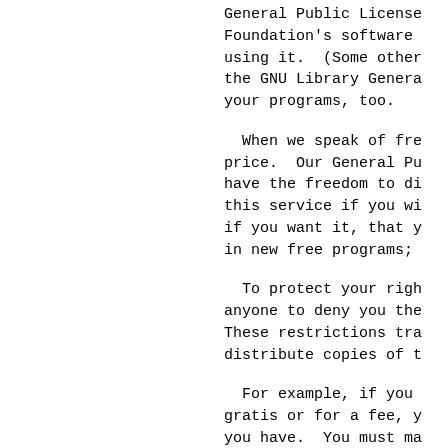General Public License Foundation's software using it.  (Some other the GNU Library Genera your programs, too.
When we speak of fre price.  Our General Pu have the freedom to di this service if you wi if you want it, that y in new free programs;
To protect your righ anyone to deny you the These restrictions tra distribute copies of t
For example, if you gratis or for a fee, y you have.  You must ma source code.  And you rights.
We protect your righ (2) offer you this lic distribute and/or modi